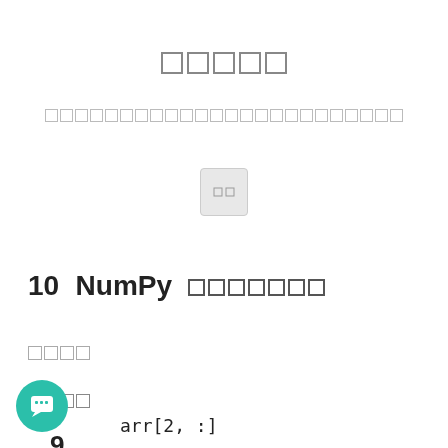[rendered as placeholder squares - Japanese/CJK characters]
[rendered as placeholder squares - Japanese/CJK characters subtitle]
[Figure (other): A small button/UI element with two small squares inside, on a light gray rounded rectangle background]
10   NumPy [CJK characters]
[CJK characters - underlined]
[CJK characters]
9
arr[2, :]
[Figure (other): Teal circular chat/message button in bottom-left corner]